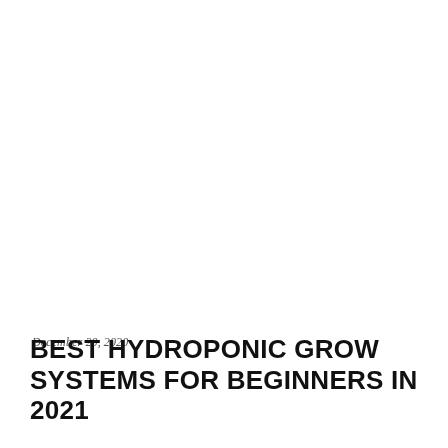December 20, 2020
BEST HYDROPONIC GROW SYSTEMS FOR BEGINNERS IN 2021